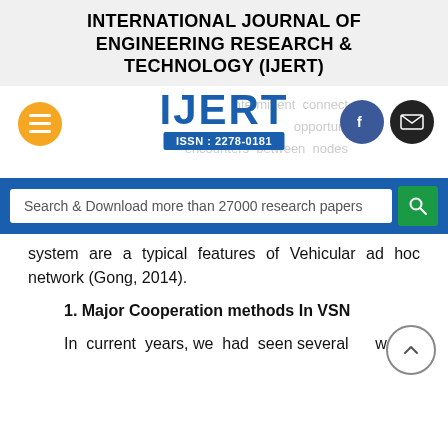INTERNATIONAL JOURNAL OF ENGINEERING RESEARCH & TECHNOLOGY (IJERT)
[Figure (logo): IJERT logo with ISSN: 2278-0181, orange hamburger menu button, Facebook and email social buttons, ghost text reading 'intermittent connectivity opportunities encounters between nodes']
[Figure (screenshot): Search bar with text 'Search & Download more than 27000 research papers' and green search button]
system are a typical features of Vehicular ad hoc network (Gong, 2014).
1. Major Cooperation methods In VSN
In current years, we had seen several works